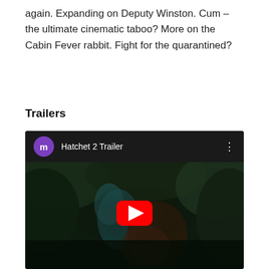again. Expanding on Deputy Winston. Cum – the ultimate cinematic taboo? More on the Cabin Fever rabbit. Fight for the quarantined?
Trailers
[Figure (screenshot): YouTube video embed showing 'Hatchet 2 Trailer' with a purple avatar circle with letter m, three-dot menu, and a red YouTube play button over a dark horror movie scene thumbnail.]